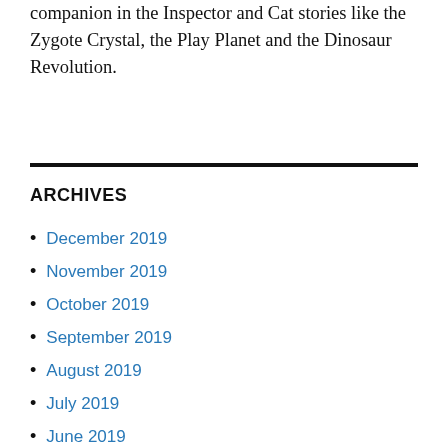Find out a little bit about cat, the inspector's companion in the Inspector and Cat stories like the Zygote Crystal, the Play Planet and the Dinosaur Revolution.
ARCHIVES
December 2019
November 2019
October 2019
September 2019
August 2019
July 2019
June 2019
May 2019